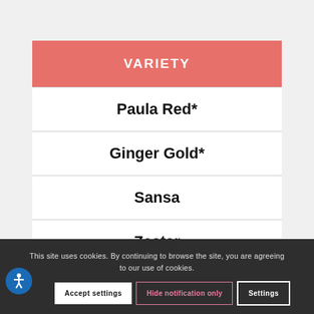| VARIETY |
| --- |
| Paula Red* |
| Ginger Gold* |
| Sansa |
| Zestar |
| Gala |
This site uses cookies. By continuing to browse the site, you are agreeing to our use of cookies.
Accept settings | Hide notification only | Settings